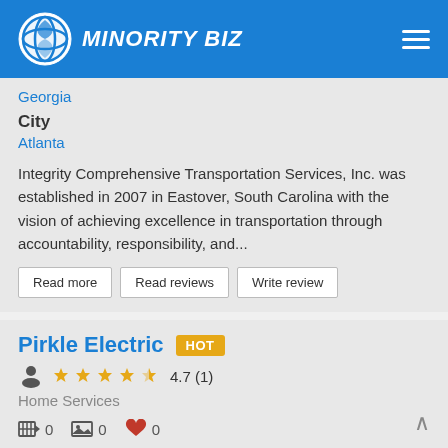MINORITY BIZ
Georgia
City
Atlanta
Integrity Comprehensive Transportation Services, Inc. was established in 2007 in Eastover, South Carolina with the vision of achieving excellence in transportation through accountability, responsibility, and...
Read more   Read reviews   Write review
Pirkle Electric HOT
4.7 (1)
Home Services
0   0   0
[Figure (logo): Circular logo with arc shapes in blue and white]